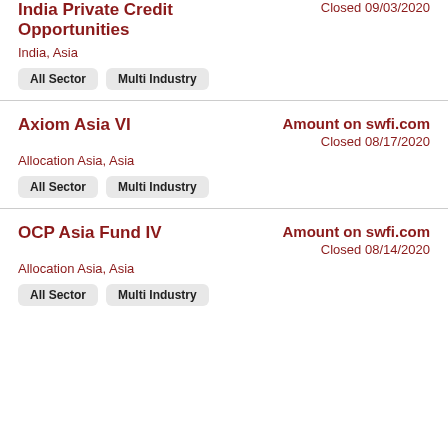India Private Credit Opportunities
Closed 09/03/2020
India, Asia
All Sector
Multi Industry
Axiom Asia VI
Amount on swfi.com
Allocation Asia, Asia
Closed 08/17/2020
All Sector
Multi Industry
OCP Asia Fund IV
Amount on swfi.com
Allocation Asia, Asia
Closed 08/14/2020
All Sector
Multi Industry